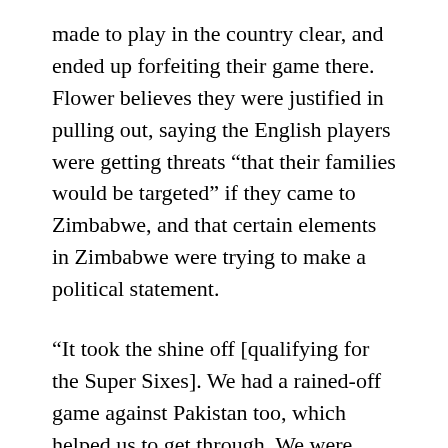made to play in the country clear, and ended up forfeiting their game there. Flower believes they were justified in pulling out, saying the English players were getting threats “that their families would be targeted” if they came to Zimbabwe, and that certain elements in Zimbabwe were trying to make a political statement.
“It took the shine off [qualifying for the Super Sixes]. We had a rained-off game against Pakistan too, which helped us to get through. We were quite fortunate to get through, even though we had a good team.”
Discontent that had bubbled beneath the surface